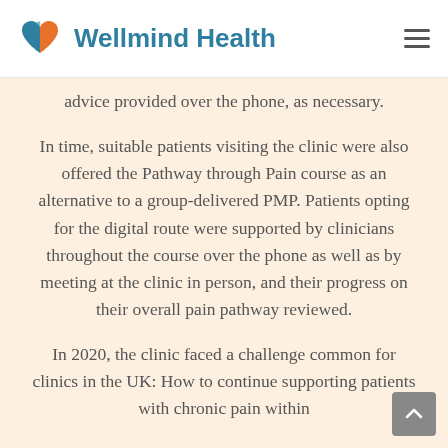Wellmind Health
advice provided over the phone, as necessary.
In time, suitable patients visiting the clinic were also offered the Pathway through Pain course as an alternative to a group-delivered PMP. Patients opting for the digital route were supported by clinicians throughout the course over the phone as well as by meeting at the clinic in person, and their progress on their overall pain pathway reviewed.
In 2020, the clinic faced a challenge common for clinics in the UK: How to continue supporting patients with chronic pain within